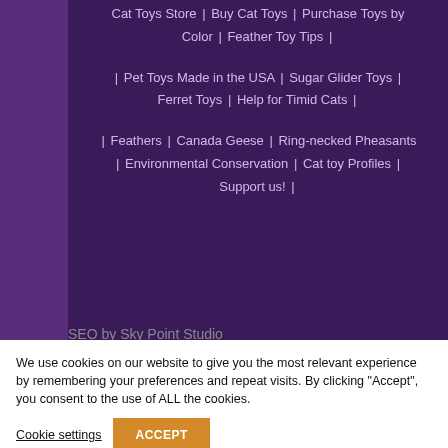Cat Toys Store | Buy Cat Toys | Purchase Toys by Color | Feather Toy Tips |
| Pet Toys Made in the USA | Sugar Glider Toys | Ferret Toys | Help for Timid Cats |
| Feathers | Canada Geese | Ring-necked Pheasants | Environmental Conservation | Cat toy Profiles | Support us! |
SEO by Sky Point Studio
We use cookies on our website to give you the most relevant experience by remembering your preferences and repeat visits. By clicking "Accept", you consent to the use of ALL the cookies.